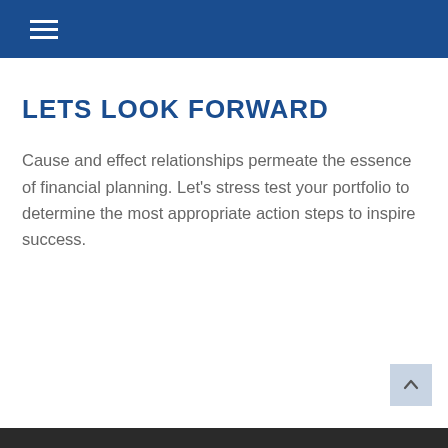LETS LOOK FORWARD
Cause and effect relationships permeate the essence of financial planning. Let's stress test your portfolio to determine the most appropriate action steps to inspire success.